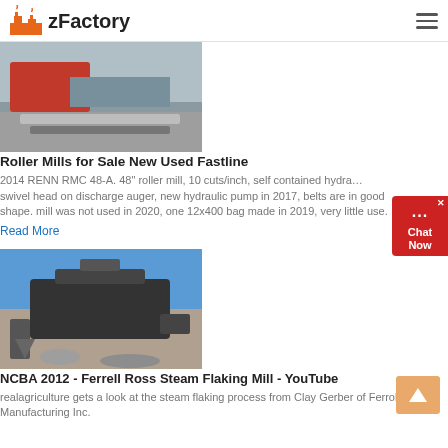zFactory
[Figure (photo): Roller mill machinery with crushed stone/aggregate material visible]
Roller Mills for Sale New Used Fastline
2014 RENN RMC 48-A. 48" roller mill, 10 cuts/inch, self contained hydra… swivel head on discharge auger, new hydraulic pump in 2017, belts are in good shape. mill was not used in 2020, one 12x400 bag made in 2019, very little use.
Read More
[Figure (photo): NCBA 2012 Ferrell Ross steam flaking mill industrial machinery outdoors against blue sky]
NCBA 2012 - Ferrell Ross Steam Flaking Mill - YouTube
realagriculture gets a look at the steam flaking process from Clay Gerber of Ferroll Ross Manufacturing Inc.